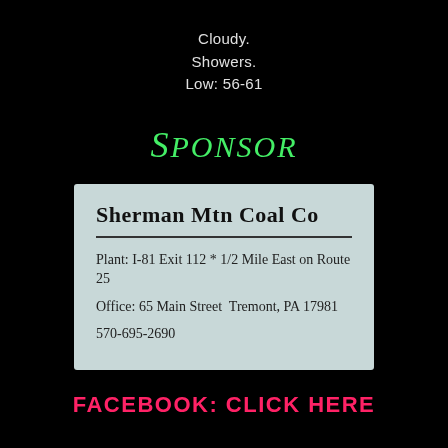Cloudy.
Showers.
Low: 56-61
Sponsor
[Figure (other): Business card for Sherman Mtn Coal Co with address and phone number on a light blue-gray background]
FACEBOOK: CLICK HERE
SATURDAY